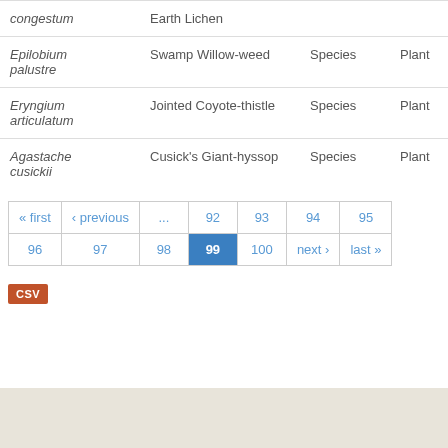| Scientific Name | Common Name | Type | Kingdom |
| --- | --- | --- | --- |
| congestum | Earth Lichen |  |  |
| Epilobium palustre | Swamp Willow-weed | Species | Plant |
| Eryngium articulatum | Jointed Coyote-thistle | Species | Plant |
| Agastache cusickii | Cusick's Giant-hyssop | Species | Plant |
Pagination: « first ‹ previous ... 92 93 94 95 96 97 98 99 (active) 100 next › last »
CSV